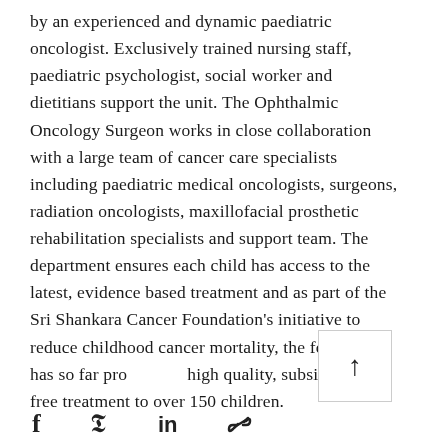by an experienced and dynamic paediatric oncologist. Exclusively trained nursing staff, paediatric psychologist, social worker and dietitians support the unit. The Ophthalmic Oncology Surgeon works in close collaboration with a large team of cancer care specialists including paediatric medical oncologists, surgeons, radiation oncologists, maxillofacial prosthetic rehabilitation specialists and support team. The department ensures each child has access to the latest, evidence based treatment and as part of the Sri Shankara Cancer Foundation's initiative to reduce childhood cancer mortality, the foundation has so far provided high quality, subsidized or free treatment to over 150 children.
[Figure (other): Scroll-to-top button with upward arrow]
[Figure (other): Social share bar with Facebook, Twitter, LinkedIn, and link icons]